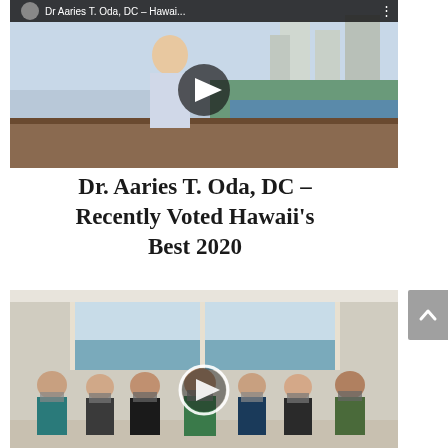[Figure (screenshot): YouTube video thumbnail showing Dr. Aaries T. Oda, DC standing in a high-rise room with a city and ocean view. A play button icon is visible. The video title bar at top reads 'Dr Aaries T. Oda, DC - Hawai...' with a menu icon.]
Dr. Aaries T. Oda, DC – Recently Voted Hawaii's Best 2020
[Figure (screenshot): Video thumbnail showing a group of seven people wearing masks standing in a high-rise room with large windows overlooking a city and ocean. A circular play button is visible in the center.]